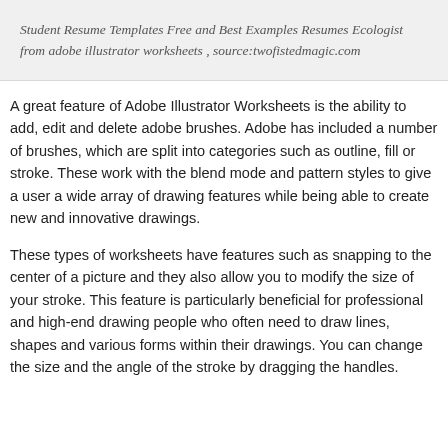Student Resume Templates Free and Best Examples Resumes Ecologist from adobe illustrator worksheets , source:twofistedmagic.com
A great feature of Adobe Illustrator Worksheets is the ability to add, edit and delete adobe brushes. Adobe has included a number of brushes, which are split into categories such as outline, fill or stroke. These work with the blend mode and pattern styles to give a user a wide array of drawing features while being able to create new and innovative drawings.
These types of worksheets have features such as snapping to the center of a picture and they also allow you to modify the size of your stroke. This feature is particularly beneficial for professional and high-end drawing people who often need to draw lines, shapes and various forms within their drawings. You can change the size and the angle of the stroke by dragging the handles.